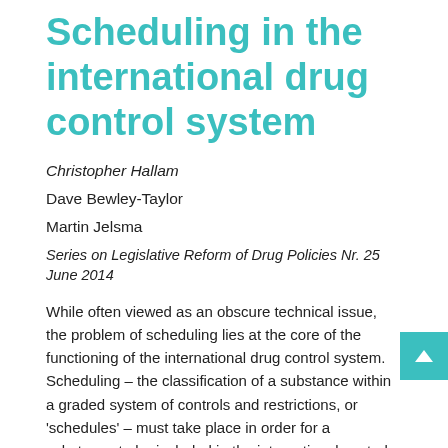Scheduling in the international drug control system
Christopher Hallam
Dave Bewley-Taylor
Martin Jelsma
Series on Legislative Reform of Drug Policies Nr. 25
June 2014
While often viewed as an obscure technical issue, the problem of scheduling lies at the core of the functioning of the international drug control system. Scheduling – the classification of a substance within a graded system of controls and restrictions, or 'schedules' – must take place in order for a substance to be included in the international control framework, and determines the type and